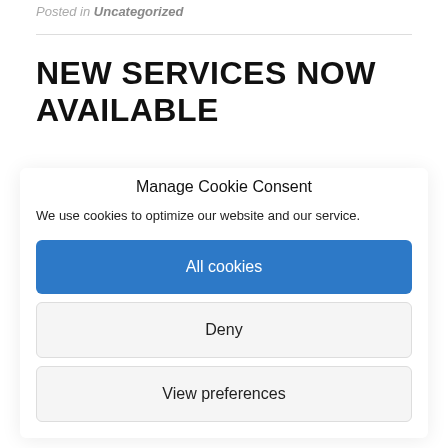Posted in Uncategorized
NEW SERVICES NOW AVAILABLE
Manage Cookie Consent
We use cookies to optimize our website and our service.
All cookies
Deny
View preferences